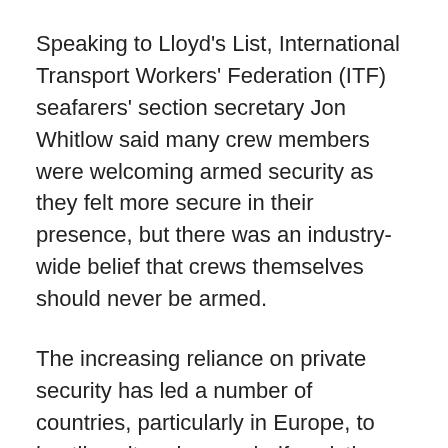Speaking to Lloyd's List, International Transport Workers' Federation (ITF) seafarers' section secretary Jon Whitlow said many crew members were welcoming armed security as they felt more secure in their presence, but there was an industry-wide belief that crews themselves should never be armed.
The increasing reliance on private security has led a number of countries, particularly in Europe, to hastily write rules, or clarify existing laws for their engagement.
Speaking on the issue of security concerns, Security Association for the Maritime Industry (SAMI) co-founder, Peter Cook believes that the threats to